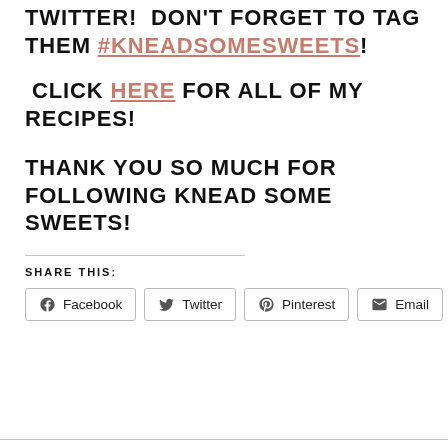TWITTER!  DON'T FORGET TO TAG THEM #KNEADSOMESWEETS!
CLICK HERE FOR ALL OF MY RECIPES!
THANK YOU SO MUCH FOR FOLLOWING KNEAD SOME SWEETS!
SHARE THIS:
Facebook  Twitter  Pinterest  Email